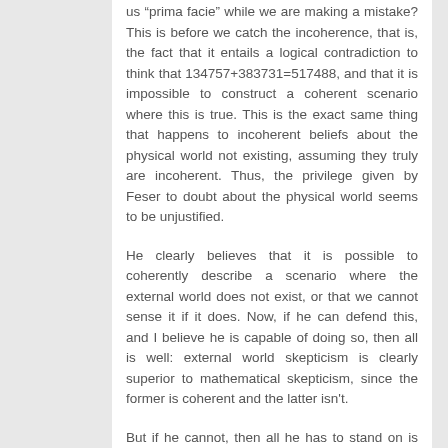us “prima facie” while we are making a mistake? This is before we catch the incoherence, that is, the fact that it entails a logical contradiction to think that 134757+383731=517488, and that it is impossible to construct a coherent scenario where this is true. This is the exact same thing that happens to incoherent beliefs about the physical world not existing, assuming they truly are incoherent. Thus, the privilege given by Feser to doubt about the physical world seems to be unjustified.
He clearly believes that it is possible to coherently describe a scenario where the external world does not exist, or that we cannot sense it if it does. Now, if he can defend this, and I believe he is capable of doing so, then all is well: external world skepticism is clearly superior to mathematical skepticism, since the former is coherent and the latter isn't.
But if he cannot, then all he has to stand on is this “prima facie plausibility” privilege of doubt